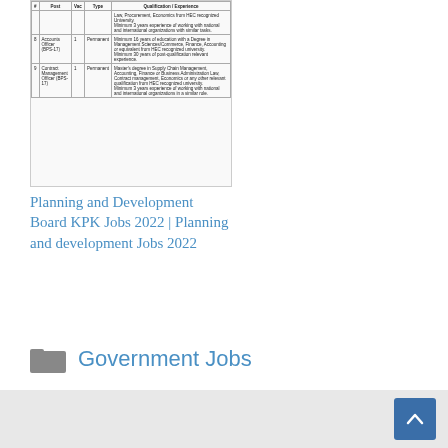[Figure (table-as-image): A cropped document image showing a table with job positions, pay scales, and qualification requirements for Planning and Development Board KPK Jobs 2022. Rows visible include Accounts Officer (BPS-17) and Contract Management Officer (BPS-17).]
Planning and Development Board KPK Jobs 2022 | Planning and development Jobs 2022
Government Jobs